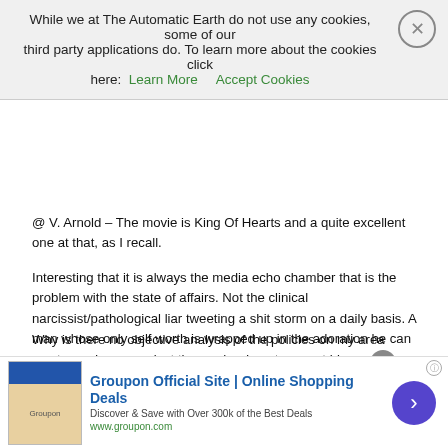While we at The Automatic Earth do not use any cookies, some of our third party applications do. To learn more about the cookies click here: Learn More   Accept Cookies
[Figure (illustration): Partial view of two overlapping grey user avatar/profile icons]
@ V. Arnold – The movie is King Of Hearts and a quite excellent one at that, as I recall.

Interesting that it is always the media echo chamber that is the problem with the state of affairs. Not the clinical narcissist/pathological liar tweeting a shit storm on a daily basis. A man whose only self worth is wrapped up in the adoration he can muster and rage against those who do not support his grandiose self image. Yes V., the country is certainly headed down the proverbial shit hole as evidenced by the fact that such an infantile personality could be elected President. The damage being done is immense. The bright spot might be that at least the counter clockwise swirl down the porcelain throne might be reversed when the poles shift.
Why is there no objective analysis of the policies on my area...
[Figure (infographic): Groupon advertisement banner: Groupon Official Site | Online Shopping Deals. Discover & Save with Over 300k of the Best Deals. www.groupon.com. Purple arrow button on right.]